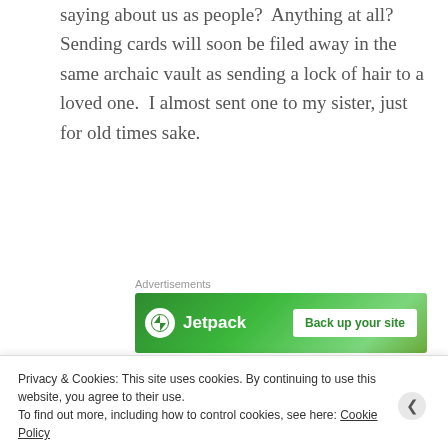saying about us as people?  Anything at all?  Sending cards will soon be filed away in the same archaic vault as sending a lock of hair to a loved one.  I almost sent one to my sister, just for old times sake.
[Figure (screenshot): Jetpack advertisement banner with green background showing Jetpack logo and 'Back up your site' button]
Then over the next few days of my fb fast, I would catch myself thinking "I should put that on
Privacy & Cookies: This site uses cookies. By continuing to use this website, you agree to their use.
To find out more, including how to control cookies, see here: Cookie Policy
Feedback
Close and accept